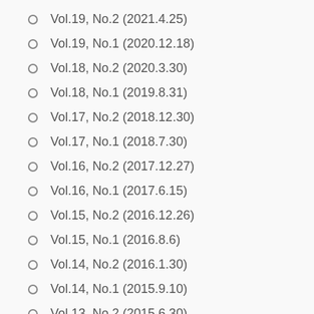Vol.19, No.2 (2021.4.25)
Vol.19, No.1 (2020.12.18)
Vol.18, No.2 (2020.3.30)
Vol.18, No.1 (2019.8.31)
Vol.17, No.2 (2018.12.30)
Vol.17, No.1 (2018.7.30)
Vol.16, No.2 (2017.12.27)
Vol.16, No.1 (2017.6.15)
Vol.15, No.2 (2016.12.26)
Vol.15, No.1 (2016.8.6)
Vol.14, No.2 (2016.1.30)
Vol.14, No.1 (2015.9.10)
Vol.13, No.2 (2015.6.30)
Vol.13, No.1 (2015.1.30)
Vol.12, No.2 (2014.4.7)
Vol.12, No.1 (2014.2.24)
Vol.11, No.2 (2013.8.31)